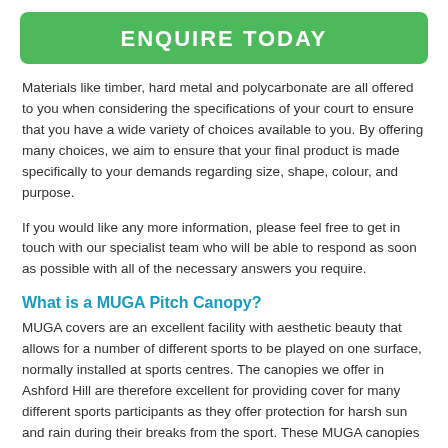ENQUIRE TODAY
Materials like timber, hard metal and polycarbonate are all offered to you when considering the specifications of your court to ensure that you have a wide variety of choices available to you. By offering many choices, we aim to ensure that your final product is made specifically to your demands regarding size, shape, colour, and purpose.
If you would like any more information, please feel free to get in touch with our specialist team who will be able to respond as soon as possible with all of the necessary answers you require.
What is a MUGA Pitch Canopy?
MUGA covers are an excellent facility with aesthetic beauty that allows for a number of different sports to be played on one surface, normally installed at sports centres. The canopies we offer in Ashford Hill are therefore excellent for providing cover for many different sports participants as they offer protection for harsh sun and rain during their breaks from the sport. These MUGA canopies